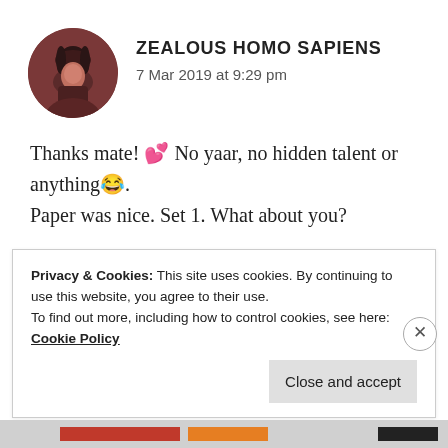[Figure (photo): Circular avatar photo of a person with dark hair against a dark background]
ZEALOUS HOMO SAPIENS
7 Mar 2019 at 9:29 pm
Thanks mate! 💕 No yaar, no hidden talent or anything😂.
Paper was nice. Set 1. What about you?
★ Liked by 1 person
REPLY
Privacy & Cookies: This site uses cookies. By continuing to use this website, you agree to their use.
To find out more, including how to control cookies, see here: Cookie Policy
Close and accept